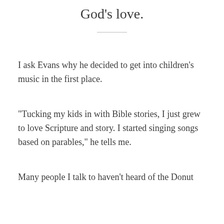God's love.
I ask Evans why he decided to get into children's music in the first place.
“Tucking my kids in with Bible stories, I just grew to love Scripture and story. I started singing songs based on parables,” he tells me.
Many people I talk to haven’t heard of the Donut